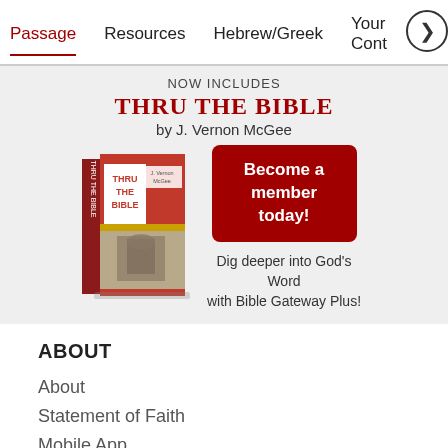Passage   Resources   Hebrew/Greek   Your Cont >
[Figure (infographic): Promotional banner for 'Thru the Bible by J. Vernon McGee' with book image and 'Become a member today!' button, with text 'Dig deeper into God's Word with Bible Gateway Plus!']
ABOUT
About
Statement of Faith
Mobile App
Store